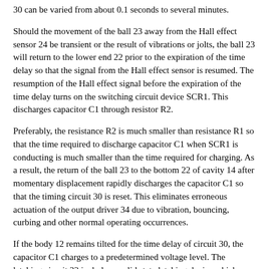30 can be varied from about 0.1 seconds to several minutes.
Should the movement of the ball 23 away from the Hall effect sensor 24 be transient or the result of vibrations or jolts, the ball 23 will return to the lower end 22 prior to the expiration of the time delay so that the signal from the Hall effect sensor is resumed. The resumption of the Hall effect signal before the expiration of the time delay turns on the switching circuit device SCR1. This discharges capacitor C1 through resistor R2.
Preferably, the resistance R2 is much smaller than resistance R1 so that the time required to discharge capacitor C1 when SCR1 is conducting is much smaller than the time required for charging. As a result, the return of the ball 23 to the bottom 22 of cavity 14 after momentary displacement rapidly discharges the capacitor C1 so that the timing circuit 30 is reset. This eliminates erroneous actuation of the output driver 34 due to vibration, bouncing, curbing and other normal operating occurrences.
If the body 12 remains tilted for the time delay of circuit 30, the capacitor C1 charges to a predetermined voltage level. The latching circuit 32 includes a solid state latching device which, upon receipt of an input voltage signal having a predetermined magnitude, operates to provide a signal to the output driver 34. Once initiated, the output signal from the latching circuit 32